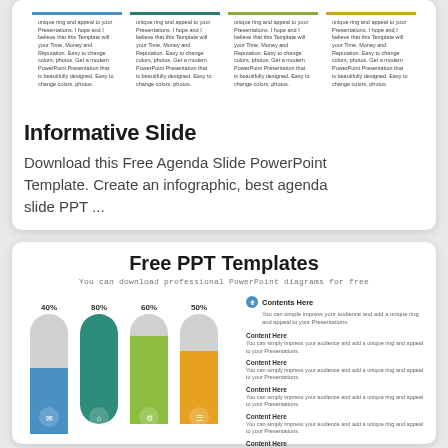[Figure (infographic): Four column layout with colored top borders (blue, teal, green, gold) containing small text about presentations, templates, money and reputation]
Informative Slide
Download this Free Agenda Slide PowerPoint Template. Create an infographic, best agenda slide PPT ...
Free PPT Templates
You can download professional PowerPoint diagrams for free
[Figure (bar-chart): Free PPT Templates]
Contents Here
You can simple impress your audience and add a unique ring and appeal to your Presentations.

Content Here
You can simply impress your audience and add a unique ring and appeal to your Presentations.

Content Here
You can simply impress your audience and add a unique ring and appeal to your Presentations.

Content Here
You can simply impress your audience and add a unique ring and appeal to your Presentations.

Content Here